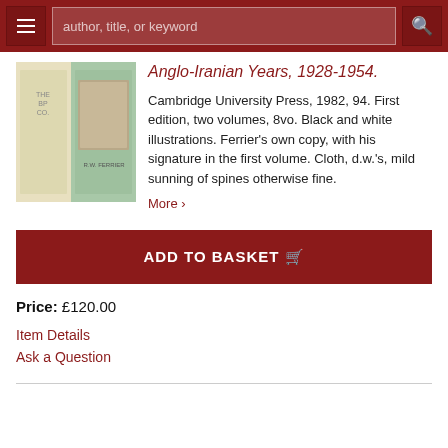author, title, or keyword
Anglo-Iranian Years, 1928-1954.
[Figure (photo): Photo of two book volumes in dust jackets, one cream/yellow and one light green/teal, standing upright.]
Cambridge University Press, 1982, 94. First edition, two volumes, 8vo. Black and white illustrations. Ferrier's own copy, with his signature in the first volume. Cloth, d.w.'s, mild sunning of spines otherwise fine.
More >
ADD TO BASKET
Price: £120.00
Item Details
Ask a Question